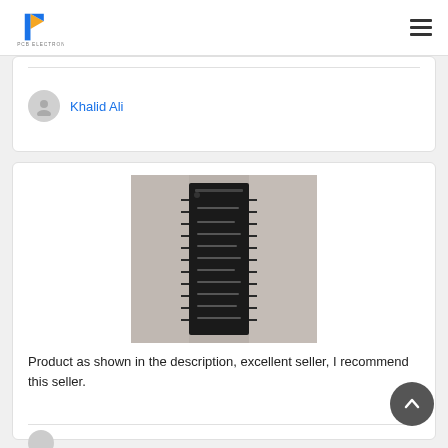PCB Electronics
Khalid Ali
[Figure (photo): Photo of an integrated circuit chip (IC) showing a black SOIC package with multiple pins, photographed on a gray background.]
Product as shown in the description, excellent seller, I recommend this seller.